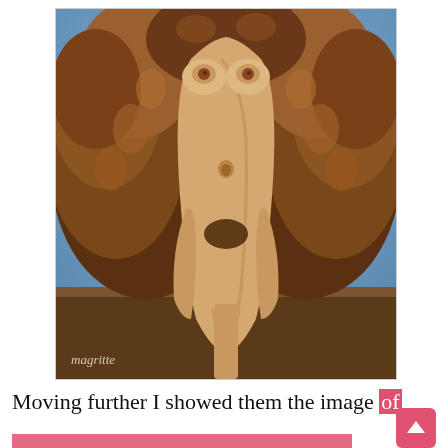[Figure (illustration): Surrealist painting by Magritte showing a female torso used as a face/head — the torso's breasts serve as eyes, the navel as a nose, and the pubic area as a mouth, with voluminous curly reddish-brown hair surrounding the figure, set against a blue sky and brown landscape background. The artist's signature 'magritte' appears in the lower-left corner of the painting.]
Moving further I showed them the image of